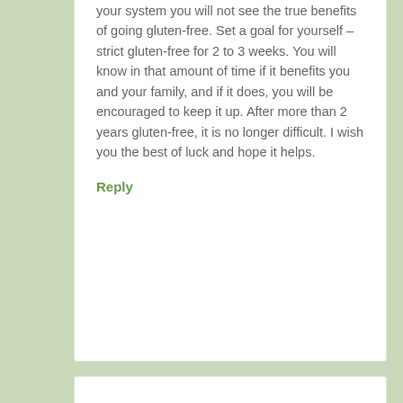your system you will not see the true benefits of going gluten-free. Set a goal for yourself – strict gluten-free for 2 to 3 weeks. You will know in that amount of time if it benefits you and your family, and if it does, you will be encouraged to keep it up. After more than 2 years gluten-free, it is no longer difficult. I wish you the best of luck and hope it helps.
Reply
[Figure (illustration): Avatar icon: circular brown and white geometric/snowflake pattern for user Mariam]
Mariam says
January 31, 2012 at 12:31 pm